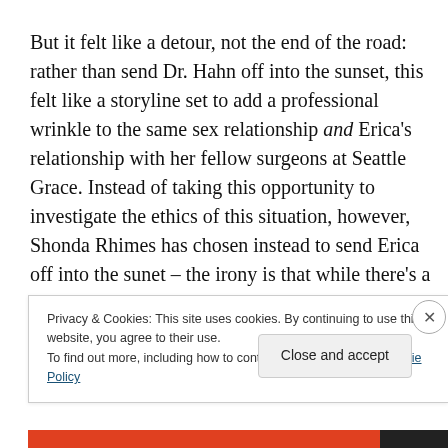But it felt like a detour, not the end of the road: rather than send Dr. Hahn off into the sunset, this felt like a storyline set to add a professional wrinkle to the same sex relationship and Erica's relationship with her fellow surgeons at Seattle Grace. Instead of taking this opportunity to investigate the ethics of this situation, however, Shonda Rhimes has chosen instead to send Erica off into the sunet – the irony is that while there's a
Privacy & Cookies: This site uses cookies. By continuing to use this website, you agree to their use.
To find out more, including how to control cookies, see here: Cookie Policy
Close and accept